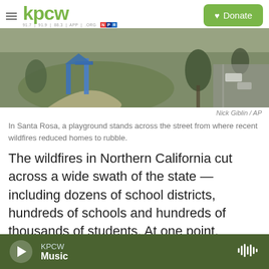KPCW | Donate
[Figure (photo): Aerial view of a playground with blue equipment and green grass, across the street from a parking lot and trees, in Santa Rosa, with smoke-hazed sky.]
Nick Giblin / AP
In Santa Rosa, a playground stands across the street from where recent wildfires reduced homes to rubble.
The wildfires in Northern California cut across a wide swath of the state — including dozens of school districts, hundreds of schools and hundreds of thousands of students. At one point, classes were canceled for 260,000 students in 600 schools.
KPCW Music